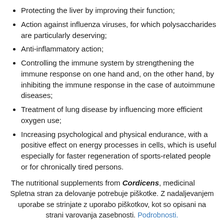Protecting the liver by improving their function;
Action against influenza viruses, for which polysaccharides are particularly deserving;
Anti-inflammatory action;
Controlling the immune system by strengthening the immune response on one hand and, on the other hand, by inhibiting the immune response in the case of autoimmune diseases;
Treatment of lung disease by influencing more efficient oxygen use;
Increasing psychological and physical endurance, with a positive effect on energy processes in cells, which is useful especially for faster regeneration of sports-related people or for chronically tired persons.
The nutritional supplements from Cordicens medicinal
Spletna stran za delovanje potrebuje piškotke. Z nadaljevanjem uporabe se strinjate z uporabo piškotkov, kot so opisani na strani varovanja zasebnosti. Podrobnosti.